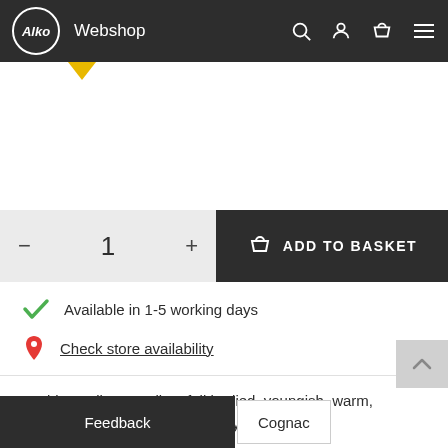Alko Webshop
[Figure (screenshot): Yellow downward pointing triangle/arrow below header navigation]
[Figure (screenshot): Add to basket controls: quantity selector showing 1 with minus and plus buttons, and a dark ADD TO BASKET button with basket icon]
Available in 1-5 working days
Check store availability
Golden-yellow, medium full bodied, youngish, warm, sweet fruit notes, spicy, oak notes
Feedback
Cognac